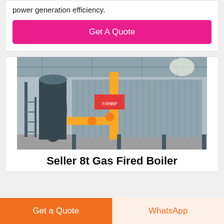power generation efficiency.
Get A Quote
[Figure (photo): Industrial gas fired boiler in a factory setting, showing large cylindrical boiler body, yellow gas pipes, corrugated metal cladding, and steel support structure with signage in Chinese.]
Chat
Email
Contact
Seller 8t Gas Fired Boiler
Get a Quote
WhatsApp